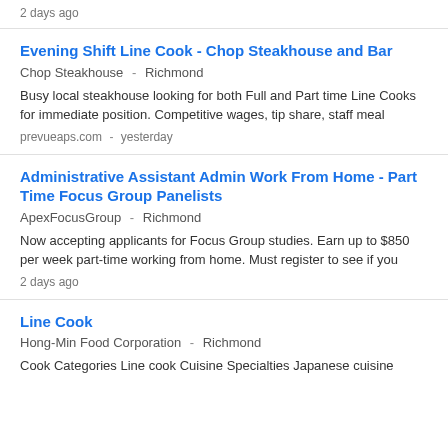2 days ago
Evening Shift Line Cook - Chop Steakhouse and Bar
Chop Steakhouse  -  Richmond
Busy local steakhouse looking for both Full and Part time Line Cooks for immediate position. Competitive wages, tip share, staff meal
prevueaps.com  -  yesterday
Administrative Assistant Admin Work From Home - Part Time Focus Group Panelists
ApexFocusGroup  -  Richmond
Now accepting applicants for Focus Group studies. Earn up to $850 per week part-time working from home. Must register to see if you
2 days ago
Line Cook
Hong-Min Food Corporation  -  Richmond
Cook Categories Line cook Cuisine Specialties Japanese cuisine